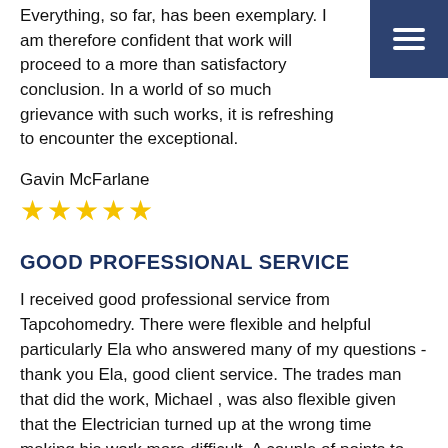Everything, so far, has been exemplary. I am therefore confident that work will proceed to a more than satisfactory conclusion. In a world of so much grievance with such works, it is refreshing to encounter the exceptional.
Gavin McFarlane
★★★★★
GOOD PROFESSIONAL SERVICE
I received good professional service from Tapcohomedry. There were flexible and helpful particularly Ela who answered many of my questions - thank you Ela, good client service. The trades man that did the work, Michael , was also flexible given that the Electrician turned up at the wrong time making his work more difficult. A couple of points to note: I was expecting the wood floors to be refilled with 'floor grout' after they removed it to take up the planks. This is not done. Also perhaps more annoyingly, there is a paper stuck to the wall to advise of fumes so 'no